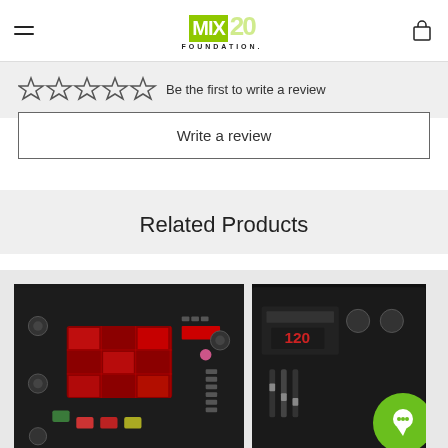MIX FOUNDATION 20 — navigation header with logo and cart icon
Be the first to write a review
Write a review
Related Products
[Figure (photo): Dark electronic drum machine / beat pad device (KORG or similar), top-down angled view with illuminated red pads and various buttons and knobs]
[Figure (photo): Partial view of another electronic music device with display showing '120', with a green circular chat widget overlay]